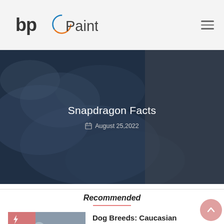bp Painting
[Figure (photo): Hero banner with dark overlay showing cloud/earth aerial photo, title 'Snapdragon Facts' and date 'August 25,2022']
Snapdragon Facts
August 25,2022
Recommended
[Figure (photo): Photo of a Caucasian Shepherd Dog standing outdoors with a pink corner accent]
Dog Breeds: Caucasian Shepherd Dog
Information